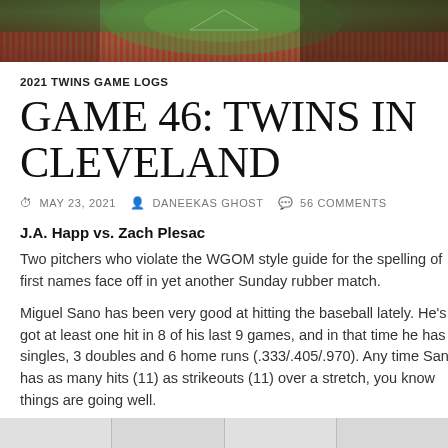[Figure (photo): Aerial view of a baseball stadium with green field and red seats filled with crowd]
2021 TWINS GAME LOGS
GAME 46: TWINS IN CLEVELAND
MAY 23, 2021   DANEEKAS GHOST   56 COMMENTS
J.A. Happ vs. Zach Plesac
Two pitchers who violate the WGOM style guide for the spelling of first names face off in yet another Sunday rubber match.
Miguel Sano has been very good at hitting the baseball lately. He's got at least one hit in 8 of his last 9 games, and in that time he has 2 singles, 3 doubles and 6 home runs (.333/.405/.970). Any time Sano has as many hits (11) as strikeouts (11) over a stretch, you know things are going well.